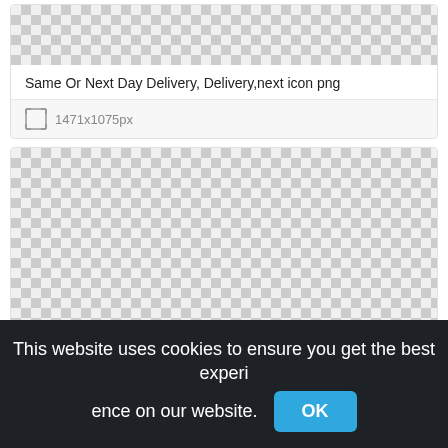[Figure (screenshot): Checkered transparency background (top card image preview area)]
Same Or Next Day Delivery, Delivery,next icon png
1471x1075px
[Figure (screenshot): Large checkered transparency background (second card image preview area)]
This website uses cookies to ensure you get the best experience on our website.